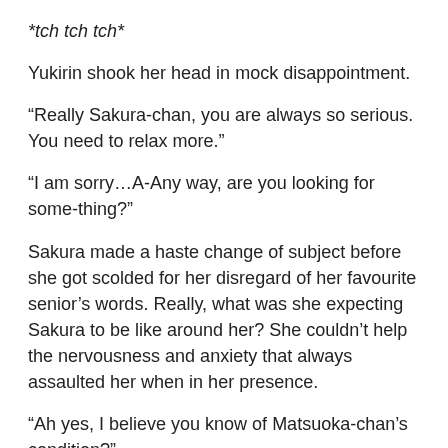*tch tch tch*
Yukirin shook her head in mock disappointment.
“Really Sakura-chan, you are always so serious. You need to relax more.”
“I am sorry…A-Any way, are you looking for some-thing?”
Sakura made a haste change of subject before she got scolded for her disregard of her favourite senior’s words. Really, what was she expecting Sakura to be like around her? She couldn’t help the nervousness and anxiety that always assaulted her when in her presence.
“Ah yes, I believe you know of Matsuoka-chan’s condition?”
“Yes, she wasn’t feeling very well but I don’t know the